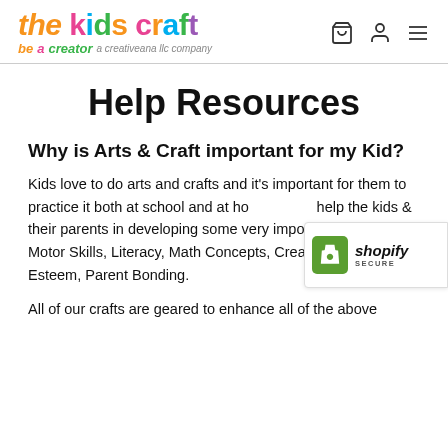the kids craft — be a creator — a creativeana llc company
Help Resources
Why is Arts & Craft important for my Kid?
Kids love to do arts and crafts and it’s important for them to practice it both at school and at home. It can help the kids & their parents in developing some very important skills like, Motor Skills, Literacy, Math Concepts, Creativity, Self-Esteem, Parent Bonding.
All of our crafts are geared to enhance all of the above